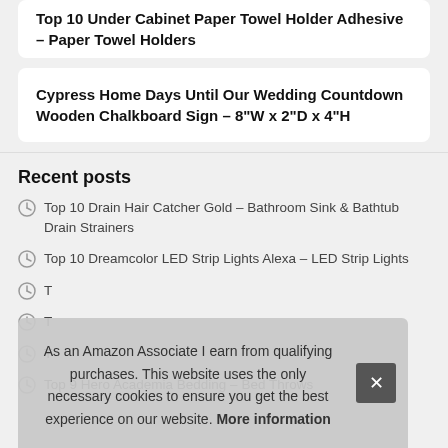Top 10 Under Cabinet Paper Towel Holder Adhesive – Paper Towel Holders
Cypress Home Days Until Our Wedding Countdown Wooden Chalkboard Sign – 8"W x 2"D x 4"H
Recent posts
Top 10 Drain Hair Catcher Gold – Bathroom Sink & Bathtub Drain Strainers
Top 10 Dreamcolor LED Strip Lights Alexa – LED Strip Lights
T…
T…
T…
Top 9 Hero Academia Bedding – Bed Throws
As an Amazon Associate I earn from qualifying purchases. This website uses the only necessary cookies to ensure you get the best experience on our website. More information